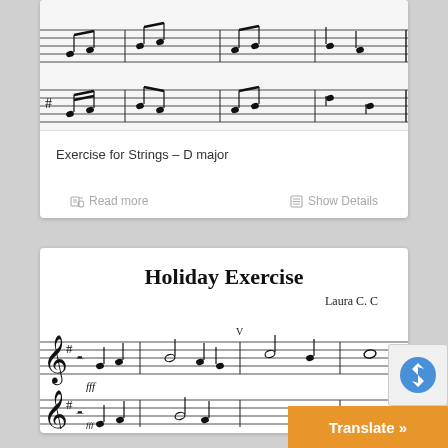[Figure (illustration): Music notation sheet showing Exercise for Strings in D major, two staves with notes, treble/bass clef, sharp key signature]
Exercise for Strings – D major
Read more
Show Details
Holiday Exercise
Laura C. C
[Figure (illustration): Music notation for Holiday Exercise, two treble clef staves with sharp key signature, common time, notes including half notes, whole notes, fff dynamic marking, bow marking V]